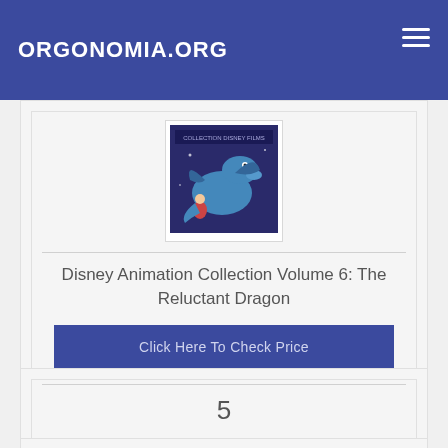ORGONOMIA.ORG
[Figure (illustration): Disney Animation Collection Volume 6: The Reluctant Dragon movie cover thumbnail showing cartoon dragon characters]
Disney Animation Collection Volume 6: The Reluctant Dragon
Click Here To Check Price
5
[Figure (illustration): The Reluctant Dragon book cover thumbnail with golden/earthy tones]